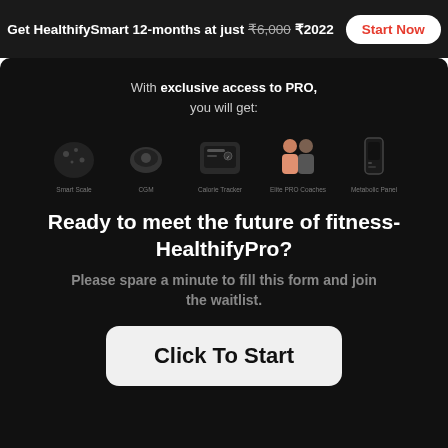Get HealthifySmart 12-months at just ₹6,000 ₹2022  Start Now
With exclusive access to PRO, you will get:
[Figure (infographic): Row of five product/feature icons with labels: Smart Scale, CGM, Calorie Tracker, Elite PRO Coaches, Metabolic Panel]
Ready to meet the future of fitness- HealthifyPro?
Please spare a minute to fill this form and join the waitlist.
Click To Start